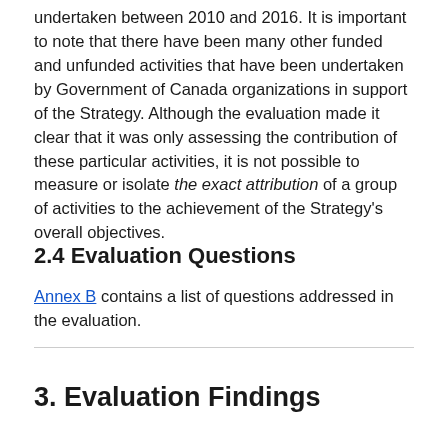undertaken between 2010 and 2016. It is important to note that there have been many other funded and unfunded activities that have been undertaken by Government of Canada organizations in support of the Strategy. Although the evaluation made it clear that it was only assessing the contribution of these particular activities, it is not possible to measure or isolate the exact attribution of a group of activities to the achievement of the Strategy's overall objectives.
2.4 Evaluation Questions
Annex B contains a list of questions addressed in the evaluation.
3. Evaluation Findings